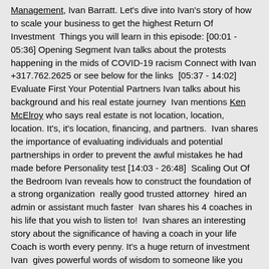Management, Ivan Barratt. Let's dive into Ivan's story of how to scale your business to get the highest Return Of Investment  Things you will learn in this episode: [00:01 - 05:36] Opening Segment Ivan talks about the protests happening in the mids of COVID-19 racism Connect with Ivan +317.762.2625 or see below for the links  [05:37 - 14:02] Evaluate First Your Potential Partners Ivan talks about his background and his real estate journey  Ivan mentions Ken McElroy who says real estate is not location, location, location. It's, it's location, financing, and partners.  Ivan shares the importance of evaluating individuals and potential partnerships in order to prevent the awful mistakes he had made before Personality test [14:03 - 26:48]  Scaling Out Of the Bedroom Ivan reveals how to construct the foundation of a strong organization  really good trusted attorney  hired an admin or assistant much faster  Ivan shares his 4 coaches in his life that you wish to listen to!  Ivan shares an interesting story about the significance of having a coach in your life Coach is worth every penny. It's a huge return of investment Ivan  gives powerful words of wisdom to someone like you who wants to scale a business What do I have to do today, that will move the chains on where I'm trying to be Tomorrow Read five to eight business books over the course of the year Tweetable Quotes:  "Don't let that fear or those things slow you down" -Ivan Barratt "You gotta delegate so that you can elevate" -Ivan Barratt Resources Mentioned:  ivanbarratteducation.com  (Blog) barrattassetmanagement.com  (Company Website) ivanbarratt.com  (Personal Website) You can connect with Ivan on Facebook LinkedIn, Twitter, Instagram LEAVE A REVIEW + help someone who wants to learn more from mistakes and